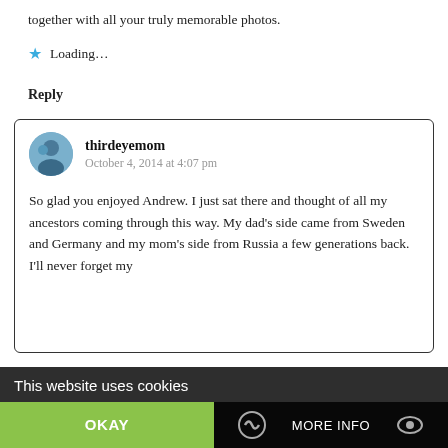together with all your truly memorable photos.
Loading...
Reply
thirdeyemom
October 4, 2014 at 4:07 pm
So glad you enjoyed Andrew. I just sat there and thought of all my ancestors coming through this way. My dad’s side came from Sweden and Germany and my mom’s side from Russia a few generations back. I’ll never forget my great-Grandmother who only spoke in Russian and was
This website uses cookies
OKAY
MORE INFO